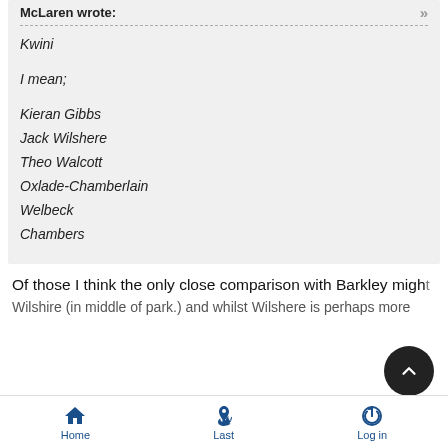McLaren wrote:
Kwini

I mean;

Kieran Gibbs
Jack Wilshere
Theo Walcott
Oxlade-Chamberlain
Welbeck
Chambers
Of those I think the only close comparison with Barkley might Wilshire (in middle of park.) and whilst Wilshere is perhaps more
Home  Last  Log in